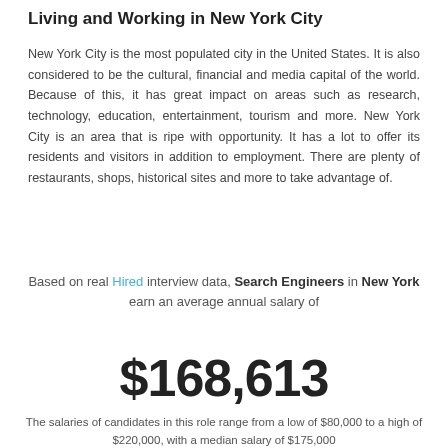Living and Working in New York City
New York City is the most populated city in the United States. It is also considered to be the cultural, financial and media capital of the world. Because of this, it has great impact on areas such as research, technology, education, entertainment, tourism and more. New York City is an area that is ripe with opportunity. It has a lot to offer its residents and visitors in addition to employment. There are plenty of restaurants, shops, historical sites and more to take advantage of.
Based on real Hired interview data, Search Engineers in New York earn an average annual salary of
$168,613
The salaries of candidates in this role range from a low of $80,000 to a high of $220,000, with a median salary of $175,000